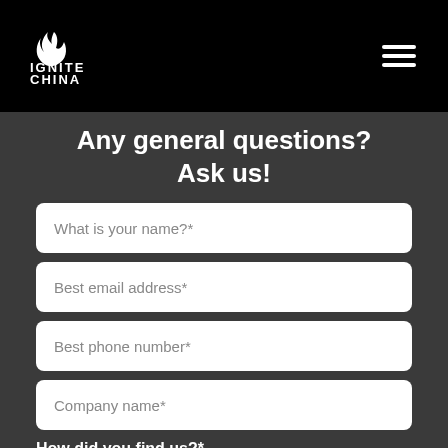IGNITE CHINA
Any general questions? Ask us!
What is your name?*
Best email address*
Best phone number*
Company name*
How did you find us?*